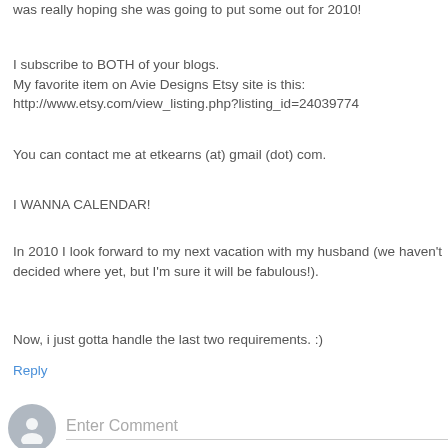was really hoping she was going to put some out for 2010!
I subscribe to BOTH of your blogs.
My favorite item on Avie Designs Etsy site is this:
http://www.etsy.com/view_listing.php?listing_id=24039774
You can contact me at etkearns (at) gmail (dot) com.
I WANNA CALENDAR!
In 2010 I look forward to my next vacation with my husband (we haven't decided where yet, but I'm sure it will be fabulous!).
Now, i just gotta handle the last two requirements. :)
Reply
Enter Comment